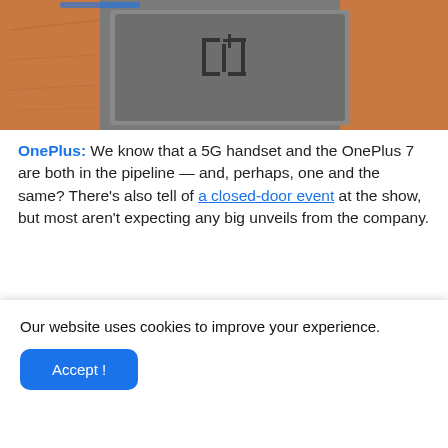[Figure (photo): OnePlus device on a wooden surface with orange and gray background, showing a 1+ logo on a gray cloth/case]
OnePlus: We know that a 5G handset and the OnePlus 7 are both in the pipeline — and, perhaps, one and the same? There's also tell of a closed-door event at the show, but most aren't expecting any big unveils from the company.
[Figure (photo): Close-up of a smartphone device, partial view]
Our website uses cookies to improve your experience.
Accept !